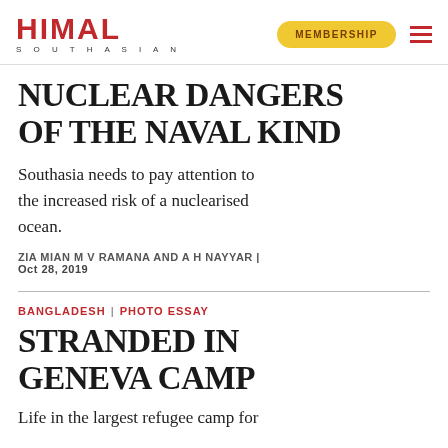HIMAL SOUTHASIAN | MEMBERSHIP
NUCLEAR DANGERS OF THE NAVAL KIND
Southasia needs to pay attention to the increased risk of a nuclearised ocean.
ZIA MIAN M V RAMANA AND A H NAYYAR | Oct 28, 2019
BANGLADESH | PHOTO ESSAY
STRANDED IN GENEVA CAMP
Life in the largest refugee camp for